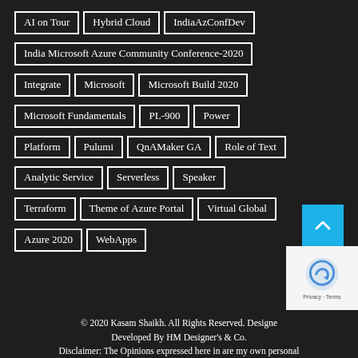AI on Tour
Hybrid Cloud
IndiaAzConfDev
India Microsoft Azure Community Conference-2020
Integrate
Microsoft
Microsoft Build 2020
Microsoft Fundamentals
PL-900
Power Platform
Pulumi
QnAMaker GA
Role of Text Analytic Service
Serverless
Speaker
Terraform
Theme of Azure Portal
Virtual Global Azure 2020
WebApps
© 2020 Kasam Shaikh. All Rights Reserved. Designed & Developed By HM Designer's & Co.
Disclaimer: The Opinions expressed here in are my own personal